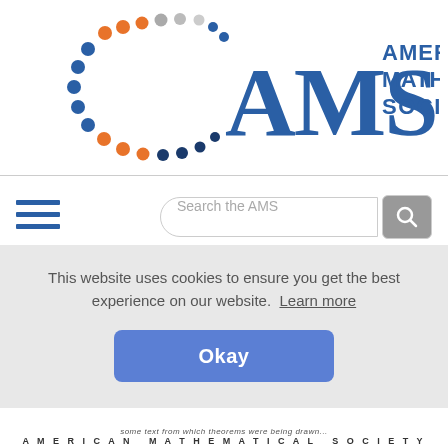[Figure (logo): American Mathematical Society (AMS) logo with colorful dots arc and blue AMS letters, text reads AMERICAN MATHEMATICAL SOCIETY]
[Figure (screenshot): Search bar with text 'Search the AMS' and a gray search button with magnifying glass icon]
[Figure (infographic): Hamburger menu icon (three horizontal blue lines)]
Menu
[Figure (photo): Cover of Bulletin of the American Mathematical Society journal]
[Figure (logo): Remote Access badge/icon showing a globe with REMOTE AC text]
This website uses cookies to ensure you get the best experience on our website.  Learn more
Okay
AMERICAN MATHEMATICAL SOCIETY